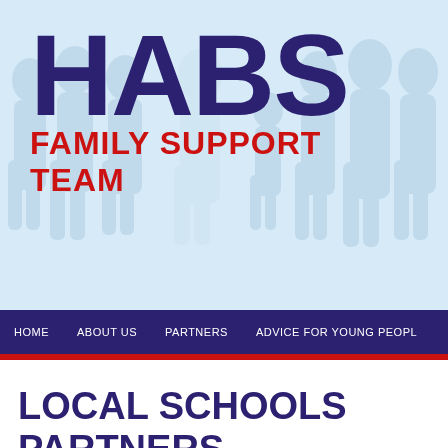[Figure (logo): HABS Family Support Team logo with silhouette figures in light blue background, HABS in large dark purple bold text, FAMILY SUPPORT TEAM in red bold text below]
HOME   ABOUT US   PARTNERS   ADVICE FOR YOUNG PEOPLE
LOCAL SCHOOLS PARTNERS